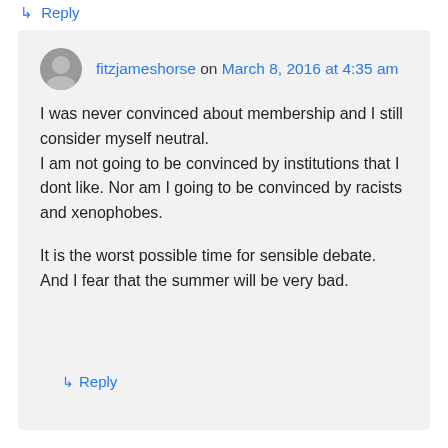↳ Reply
fitzjameshorse on March 8, 2016 at 4:35 am
I was never convinced about membership and I still consider myself neutral.
I am not going to be convinced by institutions that I dont like. Nor am I going to be convinced by racists and xenophobes.

It is the worst possible time for sensible debate. And I fear that the summer will be very bad.
↳ Reply